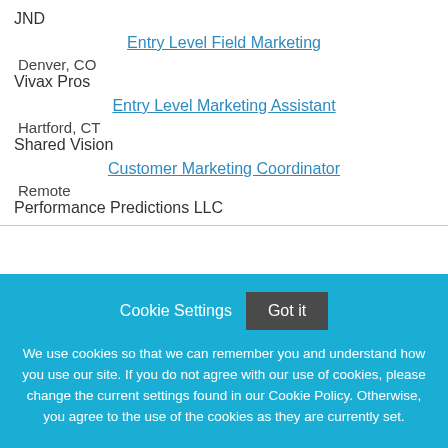JND
Entry Level Field Marketing
Denver, CO
Vivax Pros
Entry Level Marketing Assistant
Hartford, CT
Shared Vision
Customer Marketing Coordinator
Remote
Performance Predictions LLC
Cookie Settings
Got it
We use cookies so that we can remember you and understand how you use our site. If you do not agree with our use of cookies, please change the current settings found in our Cookie Policy. Otherwise, you agree to the use of the cookies as they are currently set.